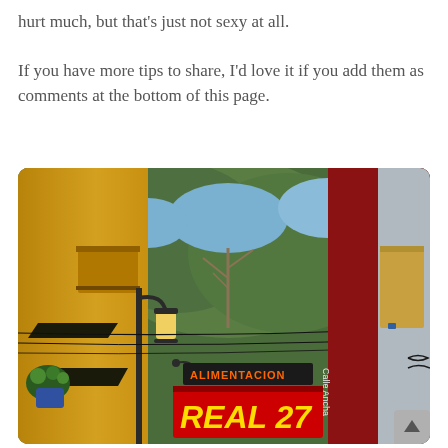hurt much, but that's just not sexy at all.

If you have more tips to share, I'd love it if you add them as comments at the bottom of this page.
[Figure (photo): Street scene in a Spanish town showing colorful building facades, a lamp post, a sign reading 'ALIMENTACION REAL 27', and trees visible in the background between buildings.]